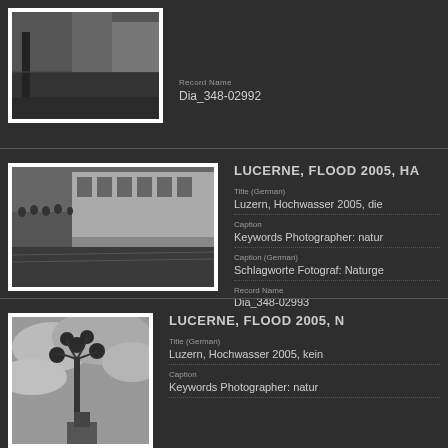[Figure (photo): Black and white thumbnail photo of a street scene with a lamp post, partial view at top of page]
Dia_348-02992
LUCERNE, FLOOD 2005, HA...
Title (German)
Luzern, Hochwasser 2005, die ...
Caption
Keywords Photographer: natur...
Caption (German)
Schlagworte Fotograf: Naturge...
Record Name
Dia_348-02993
[Figure (photo): Black and white photo of a flood scene in Lucerne 2005, people gathered near flooded waterfront with buildings in background]
LUCERNE, FLOOD 2005, N...
Title (German)
Luzern, Hochwasser 2005, kein...
Caption
Keywords Photographer: natur...
[Figure (photo): Black and white photo of ornate street lamp against cloudy sky, Lucerne flood 2005]